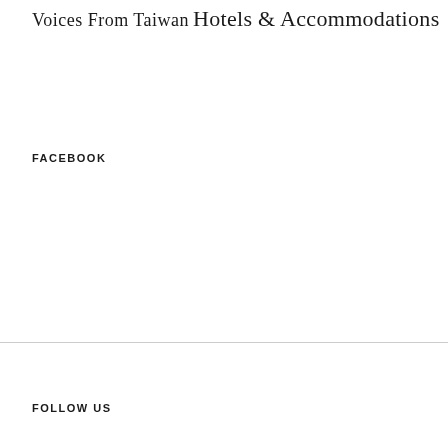Voices From Taiwan
Hotels & Accommodations
FACEBOOK
FOLLOW US